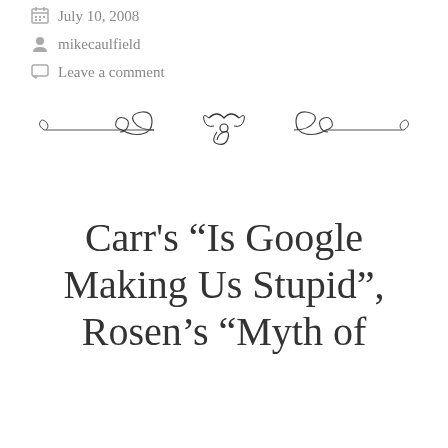July 10, 2008
mikecaulfield
Leave a comment
[Figure (illustration): Decorative ornamental divider with scrollwork and flourish design]
Carr’s “Is Google Making Us Stupid”, Rosen’s “Myth of